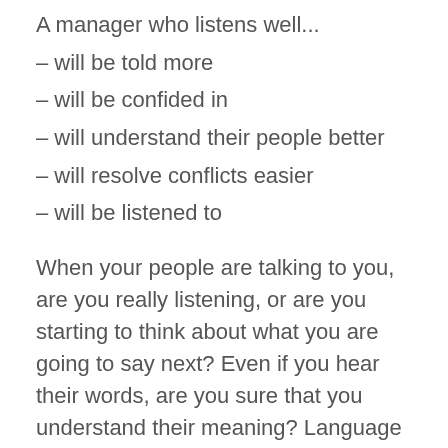A manager who listens well...
– will be told more
– will be confided in
– will understand their people better
– will resolve conflicts easier
– will be listened to
When your people are talking to you, are you really listening, or are you starting to think about what you are going to say next? Even if you hear their words, are you sure that you understand their meaning? Language lends itself to misunderstanding as easily as understanding. This makes for great comedy, unless the joke is at the expense of you and